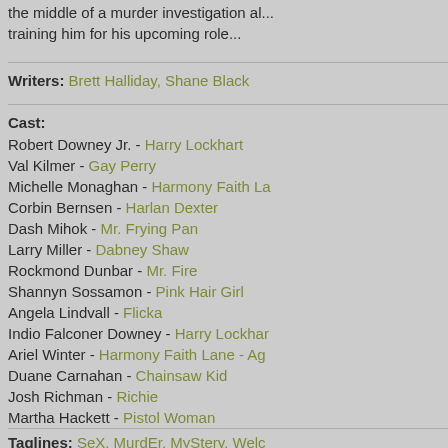the middle of a murder investigation al... training him for his upcoming role...
Writers: Brett Halliday, Shane Black
Cast:
Robert Downey Jr. - Harry Lockhart
Val Kilmer - Gay Perry
Michelle Monaghan - Harmony Faith La...
Corbin Bernsen - Harlan Dexter
Dash Mihok - Mr. Frying Pan
Larry Miller - Dabney Shaw
Rockmond Dunbar - Mr. Fire
Shannyn Sossamon - Pink Hair Girl
Angela Lindvall - Flicka
Indio Falconer Downey - Harry Lockhar...
Ariel Winter - Harmony Faith Lane - Ag...
Duane Carnahan - Chainsaw Kid
Josh Richman - Richie
Martha Hackett - Pistol Woman
Nancy Fish - N.Y. Casting Woman
Taglines: SeX. MurdEr. MyStery. Welc...